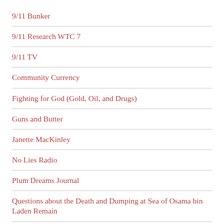9/11 Bunker
9/11 Research WTC 7
9/11 TV
Community Currency
Fighting for God (Gold, Oil, and Drugs)
Guns and Butter
Janette MacKinley
No Lies Radio
Plum Dreams Journal
Questions about the Death and Dumping at Sea of Osama bin Laden Remain